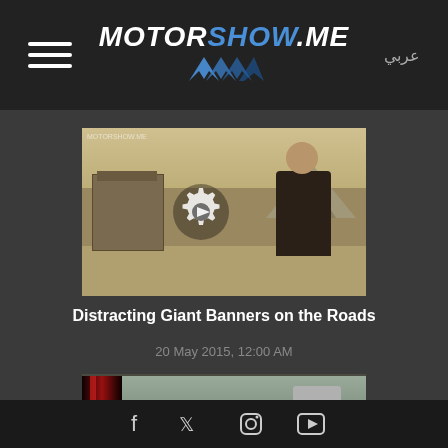MOTORSHOW.ME — عربي
[Figure (screenshot): Video thumbnail showing a bald man in sunglasses outdoors in a desert setting with a building and mountains in background, with a gear/play icon overlay]
Distracting Giant Banners on the Roads
20 May 2015, 12:00 AM
[Figure (screenshot): Video thumbnail showing a view from inside a red car looking out at a road with traffic, a hand visible, and a gear/play icon overlay]
Social media icons: Facebook, Twitter, Instagram, YouTube